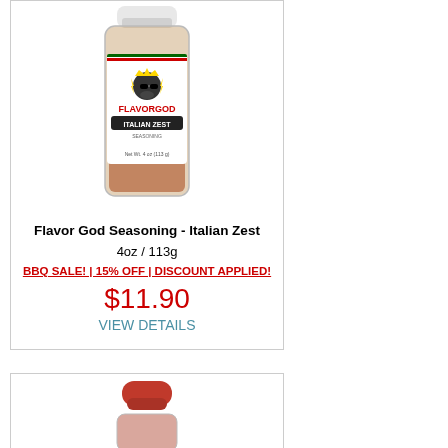[Figure (photo): Flavor God Italian Zest seasoning bottle - clear plastic shaker with white cap, label showing a king character wearing sunglasses with lightning bolts, FLAVORGOD logo in red, ITALIAN ZEST in white on dark banner, brown seasoning visible through bottle, Net Wt. 4oz (113g)]
Flavor God Seasoning - Italian Zest
4oz / 113g
BBQ SALE! | 15% OFF | DISCOUNT APPLIED!
$11.90
VIEW DETAILS
[Figure (photo): Partial view of a second seasoning bottle with red cap, only the top portion visible]